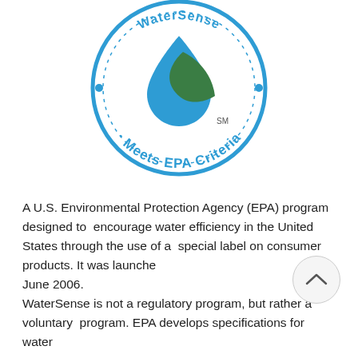[Figure (logo): WaterSense logo — a circular blue-bordered seal with a blue water drop and green leaf in the center, text reading 'WaterSense • Meets EPA Criteria' curved around the inside of the circle, with 'SM' superscript mark.]
A U.S. Environmental Protection Agency (EPA) program designed to encourage water efficiency in the United States through the use of a special label on consumer products. It was launched June 2006.
WaterSense is not a regulatory program, but rather a voluntary program. EPA develops specifications for water